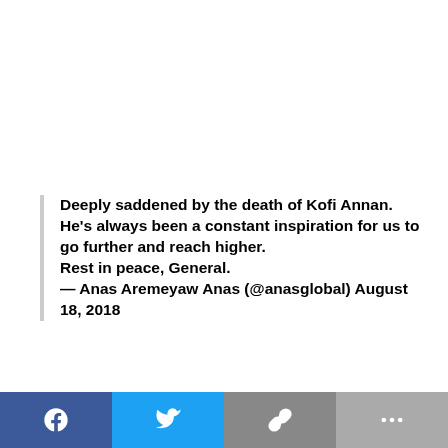Deeply saddened by the death of Kofi Annan. He's always been a constant inspiration for us to go further and reach higher.
Rest in peace, General.
— Anas Aremeyaw Anas (@anasglobal) August 18, 2018
[Figure (other): Social media share bar with Facebook, Twitter, link, and more options buttons]